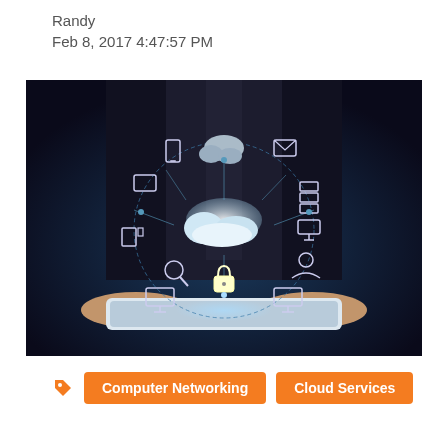Randy
Feb 8, 2017 4:47:57 PM
[Figure (photo): Business person in a suit holding a tablet displaying cloud networking icons including cloud, devices, lock, user, and connectivity diagram glowing above the tablet]
Computer Networking
Cloud Services